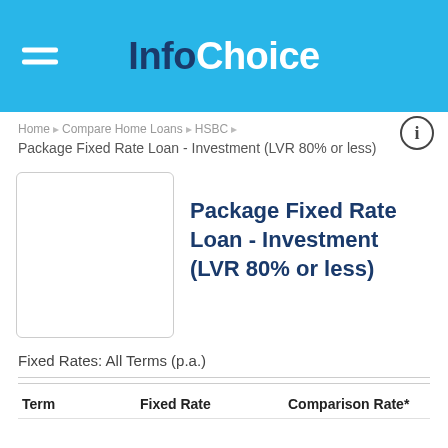InfoChoice
Home > Compare Home Loans > HSBC >
Package Fixed Rate Loan - Investment (LVR 80% or less)
[Figure (other): Product image placeholder box (empty white rounded rectangle)]
Package Fixed Rate Loan - Investment (LVR 80% or less)
Fixed Rates: All Terms (p.a.)
| Term | Fixed Rate | Comparison Rate* |
| --- | --- | --- |